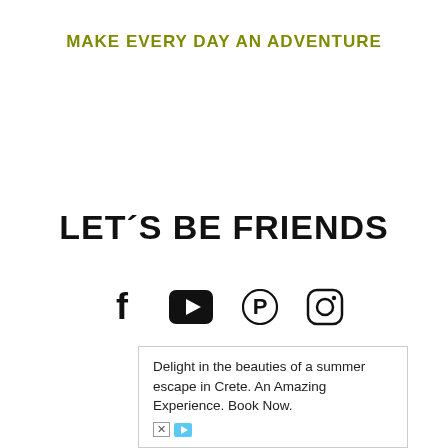MAKE EVERY DAY AN ADVENTURE
LET´S BE FRIENDS
[Figure (infographic): Social media icons: Facebook, YouTube, Pinterest, Instagram]
Delight in the beauties of a summer escape in Crete. An Amazing Experience. Book Now.